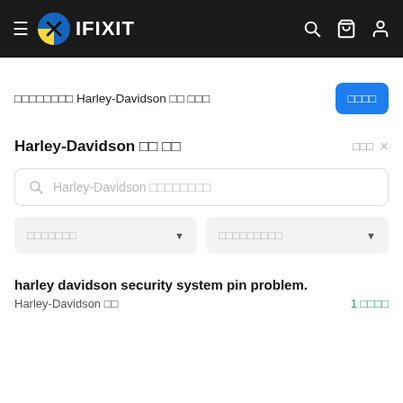≡ IFIXIT
□□□□□□□□ Harley-Davidson □□ □□□
Harley-Davidson □□ □□
Harley-Davidson □□□□□□□□
□□□□□□□
□□□□□□□□□
harley davidson security system pin problem.
Harley-Davidson □□   1 □□□□